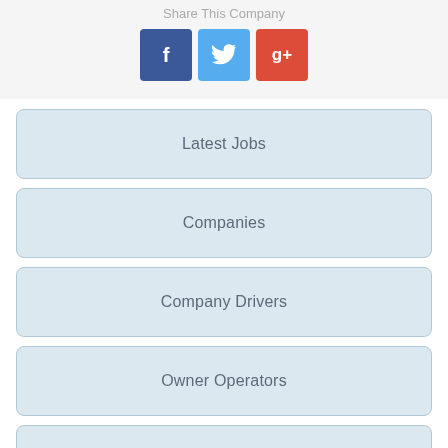Share This Company
[Figure (infographic): Three social media sharing buttons: Facebook (blue, f icon), Twitter (light blue, bird icon), Google+ (red, g+ icon)]
Latest Jobs
Companies
Company Drivers
Owner Operators
Lease Purchase